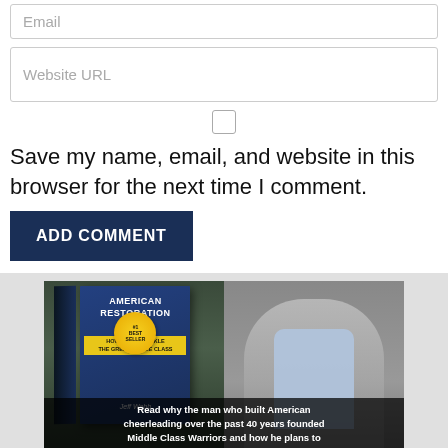Email
Website URL
Save my name, email, and website in this browser for the next time I comment.
ADD COMMENT
[Figure (photo): Advertisement showing a book titled 'American Restoration' with a #1 Best Seller badge by Jeff Webb, alongside a man with arms crossed. Caption reads: Read why the man who built American cheerleading over the past 40 years founded Middle Class Warriors and how he plans to]